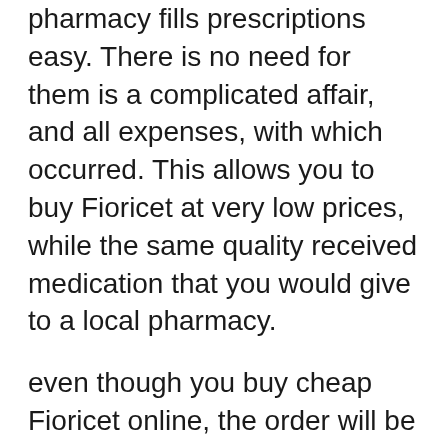additional amounts for overhead. The pharmacy fills prescriptions easy. There is no need for them is a complicated affair, and all expenses, with which occurred. This allows you to buy Fioricet at very low prices, while the same quality received medication that you would give to a local pharmacy.
even though you buy cheap Fioricet online, the order will be delivered to your door. So you can avoid having to run back and forth to the pharmacy to get your medication. You must be signed for the package. This is simply because it is forbidden, and he must show that gets to the right person. even though you can not be at home, you have your Fioricet cheap at a place where you are available, will be signed for delivery. In this